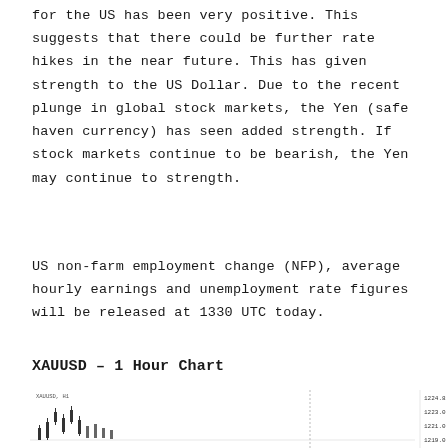for the US has been very positive. This suggests that there could be further rate hikes in the near future. This has given strength to the US Dollar. Due to the recent plunge in global stock markets, the Yen (safe haven currency) has seen added strength. If stock markets continue to be bearish, the Yen may continue to strength.
US non-farm employment change (NFP), average hourly earnings and unemployment rate figures will be released at 1330 UTC today.
XAUUSD – 1 Hour Chart
[Figure (continuous-plot): XAUUSD 1 Hour candlestick/line chart showing price action, partially visible at bottom of page with price scale on right side]